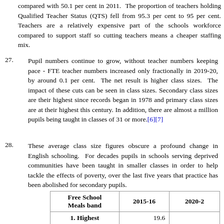compared with 50.1 per cent in 2011. The proportion of teachers holding Qualified Teacher Status (QTS) fell from 95.3 per cent to 95 per cent. Teachers are a relatively expensive part of the schools workforce compared to support staff so cutting teachers means a cheaper staffing mix.
27. Pupil numbers continue to grow, without teacher numbers keeping pace - FTE teacher numbers increased only fractionally in 2019-20, by around 0.1 per cent. The net result is higher class sizes. The impact of these cuts can be seen in class sizes. Secondary class sizes are their highest since records began in 1978 and primary class sizes are at their highest this century. In addition, there are almost a million pupils being taught in classes of 31 or more.[6][7]
28. These average class size figures obscure a profound change in English schooling. For decades pupils in schools serving deprived communities have been taught in smaller classes in order to help tackle the effects of poverty, over the last five years that practice has been abolished for secondary pupils.
| Free School Meals band | 2015-16 | 2020-2 |
| --- | --- | --- |
| 1. Highest | 19.6 |  |
| 2. High | 20.0 |  |